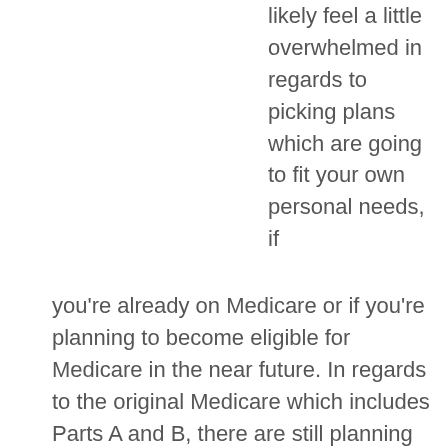likely feel a little overwhelmed in regards to picking plans which are going to fit your own personal needs, if you're already on Medicare or if you're planning to become eligible for Medicare in the near future. In regards to the original Medicare which includes Parts A and B, there are still planning to be out of pocket expenses that you might not want to need to pay for. This can be where the supplemental plans come into play. The ones we are going to be going over here are N, G, and plans F